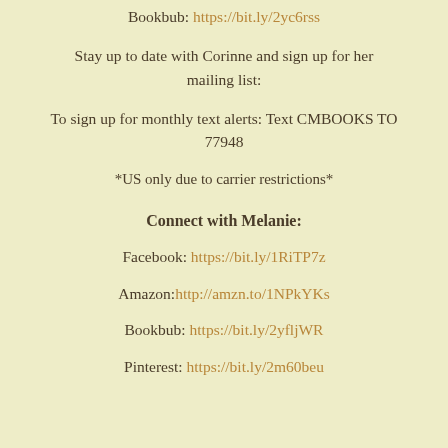Bookbub: https://bit.ly/2yc6rss
Stay up to date with Corinne and sign up for her mailing list:
To sign up for monthly text alerts: Text CMBOOKS TO 77948
*US only due to carrier restrictions*
Connect with Melanie:
Facebook: https://bit.ly/1RiTP7z
Amazon: http://amzn.to/1NPkYKs
Bookbub: https://bit.ly/2yfljWR
Pinterest: https://bit.ly/2m60beu